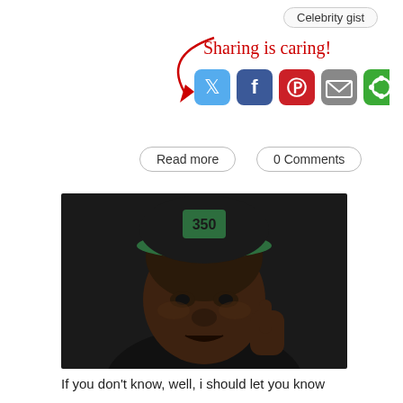Celebrity gist
[Figure (infographic): Sharing is caring social media sharing buttons: Twitter, Facebook, Pinterest, Email, and a green share icon, with a handwritten-style red arrow pointing to the buttons and the text 'Sharing is caring!']
Read more
0 Comments
[Figure (photo): Close-up photo of a man wearing a black and green snapback cap with a logo, holding his hand to his face, with a serious expression]
If you don't know, well, i should let you know